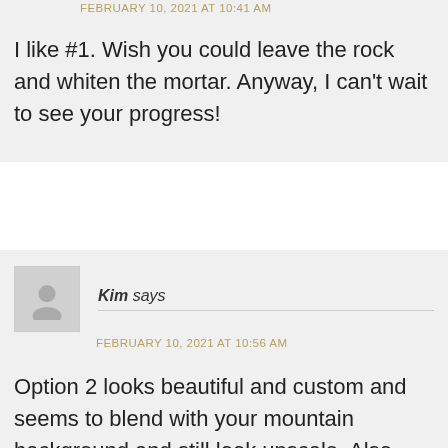FEBRUARY 10, 2021 AT 10:41 AM
I like #1. Wish you could leave the rock and whiten the mortar. Anyway, I can't wait to see your progress!
Kim says
FEBRUARY 10, 2021 AT 10:56 AM
Option 2 looks beautiful and custom and seems to blend with your mountain background and still look upscale. Also, speaking from experience with a lot of painted surfaces, if you plan on staying